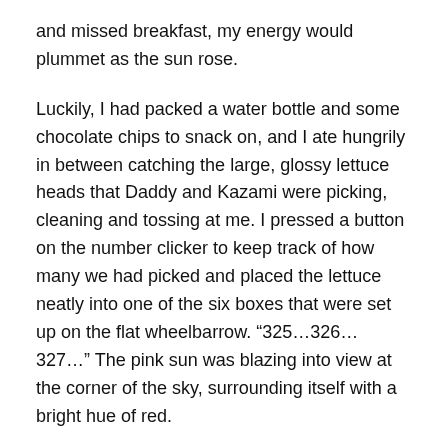and missed breakfast, my energy would plummet as the sun rose.
Luckily, I had packed a water bottle and some chocolate chips to snack on, and I ate hungrily in between catching the large, glossy lettuce heads that Daddy and Kazami were picking, cleaning and tossing at me. I pressed a button on the number clicker to keep track of how many we had picked and placed the lettuce neatly into one of the six boxes that were set up on the flat wheelbarrow. “325…326…327…” The pink sun was blazing into view at the corner of the sky, surrounding itself with a bright hue of red.
“Hai (here),” Daddy called out, tossing me a Green Boston. I looked up and was readying myself for the one-handed catch when Kazami also said, “Hai!” and without waiting for a response, tossed his lettuce at me as well. I caught